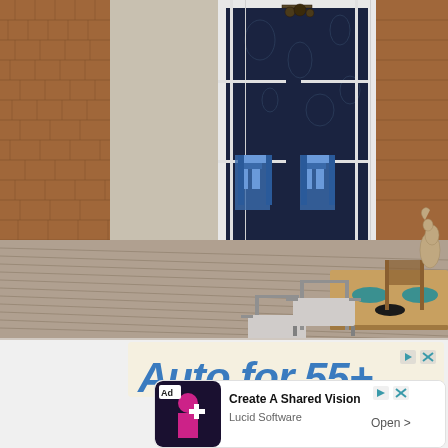[Figure (photo): Outdoor deck of a coastal shingle-style home with grey composite decking boards. A wooden dining table with modern metal armchairs is set for dining with teal plates. A driftwood seahorse sculpture sits at the end of the table. French doors open to a room with navy blue floral wallpaper and blue-and-white patterned chairs. Cedar shingle siding is visible on the left wall.]
[Figure (other): Advertisement banner with beige background showing large italic blue text partially cut off, appears to read 'Auto for 55 and...' with a forward and close icon in the top right corner.]
[Figure (other): Advertisement unit showing 'Ad' label, a thumbnail with a person in pink and white against dark background, and text 'Create A Shared Vision' from Lucid Software with an 'Open >' call to action button, with forward and close icons.]